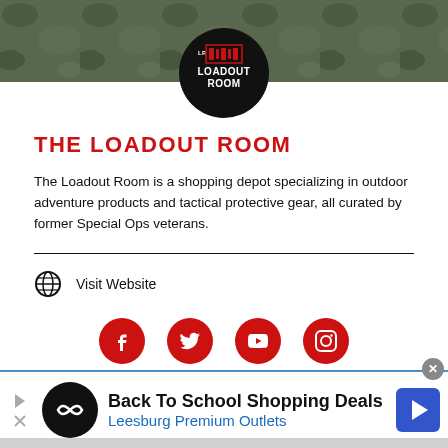[Figure (photo): Dark military/tactical background banner image with camouflage tones]
[Figure (logo): The Loadout Room logo — circular black badge with weapon icons and text 'LOADOUT ROOM']
THE LOADOUT ROOM
The Loadout Room is a shopping depot specializing in outdoor adventure products and tactical protective gear, all curated by former Special Ops veterans.
Visit Website
[Figure (infographic): Four red circular social media icons: Facebook, Twitter, YouTube, Instagram]
[Figure (infographic): Advertisement banner: Back To School Shopping Deals — Leesburg Premium Outlets]